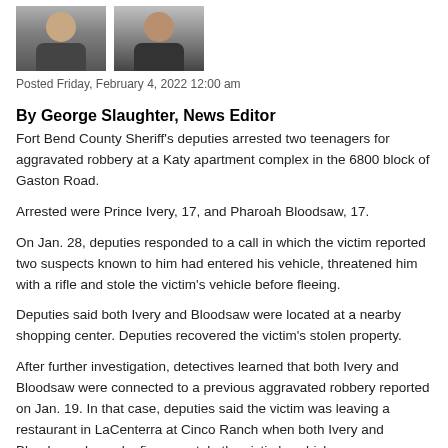[Figure (photo): Two mugshot-style portrait photos side by side]
Posted Friday, February 4, 2022 12:00 am
By George Slaughter, News Editor
Fort Bend County Sheriff's deputies arrested two teenagers for aggravated robbery at a Katy apartment complex in the 6800 block of Gaston Road.
Arrested were Prince Ivery, 17, and Pharoah Bloodsaw, 17.
On Jan. 28, deputies responded to a call in which the victim reported two suspects known to him had entered his vehicle, threatened him with a rifle and stole the victim's vehicle before fleeing.
Deputies said both Ivery and Bloodsaw were located at a nearby shopping center. Deputies recovered the victim's stolen property.
After further investigation, detectives learned that both Ivery and Bloodsaw were connected to a previous aggravated robbery reported on Jan. 19. In that case, deputies said the victim was leaving a restaurant in LaCenterra at Cinco Ranch when both Ivery and Bloodsaw showed a firearm, stole the victim's vehicle